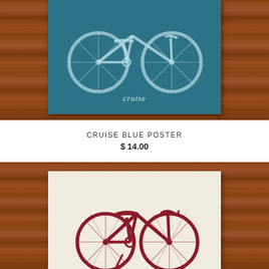[Figure (photo): Cruise Blue Poster product image showing a bicycle illustration in cyan/white on teal background with 'cruise' script text, displayed on a wooden surface background]
CRUISE BLUE POSTER
$ 14.00
[Figure (photo): Second bicycle poster product image showing a vintage cruiser bicycle in dark red/maroon on cream/aged paper background, displayed on a wooden surface background]